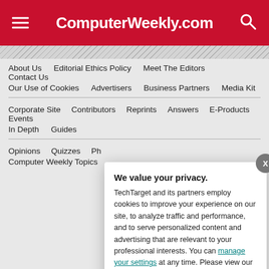ComputerWeekly.com
About Us | Editorial Ethics Policy | Meet The Editors | Contact Us | Our Use of Cookies | Advertisers | Business Partners | Media Kit
Corporate Site | Contributors | Reprints | Answers | E-Products | Events | In Depth | Guides
Opinions | Quizzes | Ph... | Computer Weekly Topics
We value your privacy. TechTarget and its partners employ cookies to improve your experience on our site, to analyze traffic and performance, and to serve personalized content and advertising that are relevant to your professional interests. You can manage your settings at any time. Please view our Privacy Policy for more information
OK | Settings